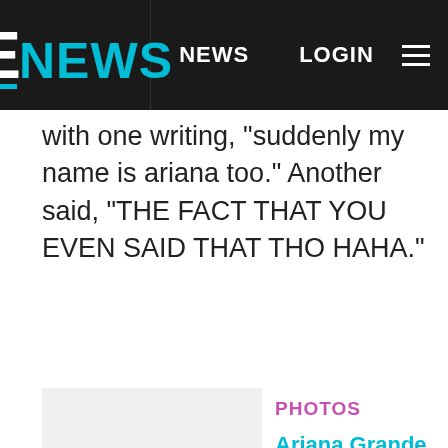E! NEWS | NEWS | LOGIN
with one writing, "suddenly my name is ariana too." Another said, "THE FACT THAT YOU EVEN SAID THAT THO HAHA."
[Figure (photo): Thumbnail image placeholder for Ariana Grande & Pete Davidson: Romance Rewind photo gallery]
PHOTOS
Ariana Grande & Pete Davidson: Romance Rewind